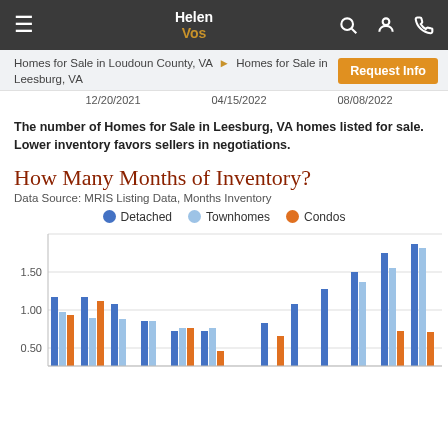Helen Vos
Homes for Sale in Loudoun County, VA ▶ Homes for Sale in Leesburg, VA
12/20/2021   04/15/2022   08/08/2022
The number of Homes for Sale in Leesburg, VA homes listed for sale. Lower inventory favors sellers in negotiations.
How Many Months of Inventory?
Data Source: MRIS Listing Data, Months Inventory
[Figure (grouped-bar-chart): How Many Months of Inventory?]